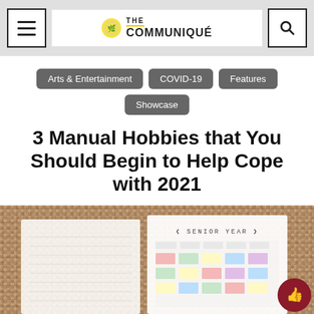THE COMMUNIQUÉ
Arts & Entertainment
COVID-19
Features
Showcase
3 Manual Hobbies that You Should Begin to Help Cope with 2021
[Figure (photo): Two open notebooks/planners lying on a woven burlap/jute textured surface. The right notebook shows 'SENIOR YEAR' printed at the top and contains a schedule/tracker with colored sticky notes or stickers in a grid layout.]